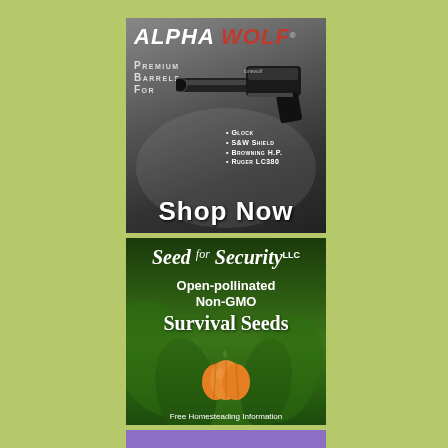[Figure (illustration): Alpha Wolf advertisement: dark gray background with gun barrel image, text 'Alpha Wolf Premium Barrels For', bullet list of Glock, S&W Shield, Browning H.P., Ruger LC380, and 'Shop Now' call to action]
[Figure (illustration): Seed for Security LLC advertisement: green leafy background with pumpkin image, text 'Open-pollinated Non-GMO Survival Seeds', tagline 'Free Homesteading Information']
[Figure (illustration): Purple banner strip at bottom, partially visible]